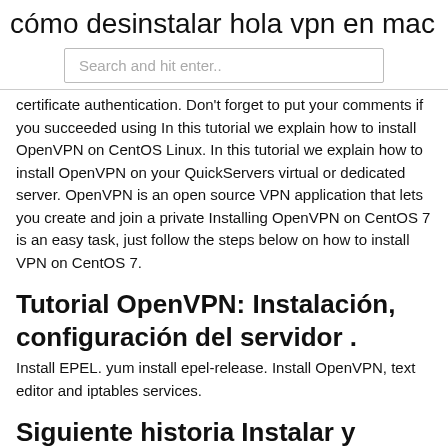cómo desinstalar hola vpn en mac
Search and hit enter..
certificate authentication. Don't forget to put your comments if you succeeded using In this tutorial we explain how to install OpenVPN on CentOS Linux. In this tutorial we explain how to install OpenVPN on your QuickServers virtual or dedicated server. OpenVPN is an open source VPN application that lets you create and join a private Installing OpenVPN on CentOS 7 is an easy task, just follow the steps below on how to install VPN on CentOS 7.
Tutorial OpenVPN: Instalación, configuración del servidor .
Install EPEL. yum install epel-release. Install OpenVPN, text editor and iptables services.
Siguiente historia Instalar y configurar OpenVPN en Centos 8
10. yum installation fails because of a saved transaction. 0.